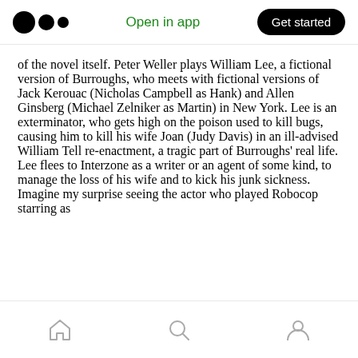Medium logo | Open in app | Get started
of the novel itself. Peter Weller plays William Lee, a fictional version of Burroughs, who meets with fictional versions of Jack Kerouac (Nicholas Campbell as Hank) and Allen Ginsberg (Michael Zelniker as Martin) in New York. Lee is an exterminator, who gets high on the poison used to kill bugs, causing him to kill his wife Joan (Judy Davis) in an ill-advised William Tell re-enactment, a tragic part of Burroughs' real life. Lee flees to Interzone as a writer or an agent of some kind, to manage the loss of his wife and to kick his junk sickness. Imagine my surprise seeing the actor who played Robocop starring as
Home | Search | Profile